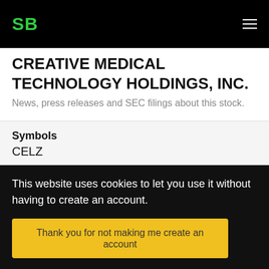SB
CREATIVE MEDICAL TECHNOLOGY HOLDINGS, INC.
News, press releases and SEC filings about this stock.
Symbols
CELZ
SEC CIK #
0001187953
article
This website uses cookies to let you use it without having to create an account.
Thank you for not making me create an account